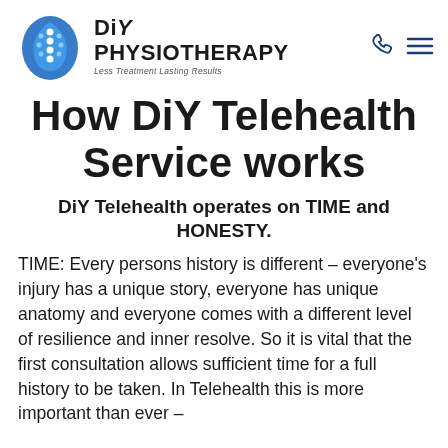[Figure (logo): DiY Physiotherapy logo — blue circular emblem with spine/dots graphic, beside bold text 'DiY PHYSIOTHERAPY' and tagline 'Less Treatment Lasting Results']
How DiY Telehealth Service works
DiY Telehealth operates on TIME and HONESTY.
TIME: Every persons history is different – everyone's injury has a unique story, everyone has unique anatomy and everyone comes with a different level of resilience and inner resolve. So it is vital that the first consultation allows sufficient time for a full history to be taken. In Telehealth this is more important than ever –